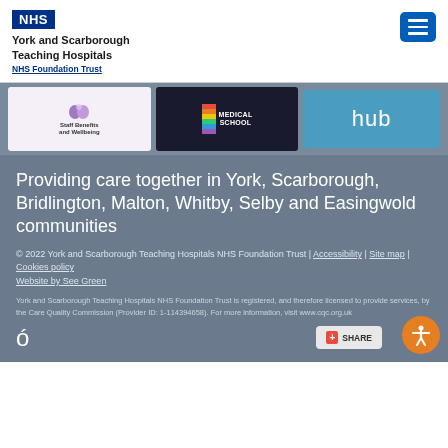York and Scarborough Teaching Hospitals NHS Foundation Trust
[Figure (infographic): Banner strip with three panels: Staff Benefits and Wellbeing, Medical School, and Hub logos on a grey background]
Providing care together in York, Scarborough, Bridlington, Malton, Whitby, Selby and Easingwold communities
© 2022 York and Scarborough Teaching Hospitals NHS Foundation Trust | Accessibility | Site map | Cookies policy
Website by See Green
York and Scarborough Teaching Hospitals NHS Foundation Trust is registered, and therefore licensed to provide services, by the Care Quality Commission (Provider ID: 1-114394658). For more information, visit www.cqc.org.uk